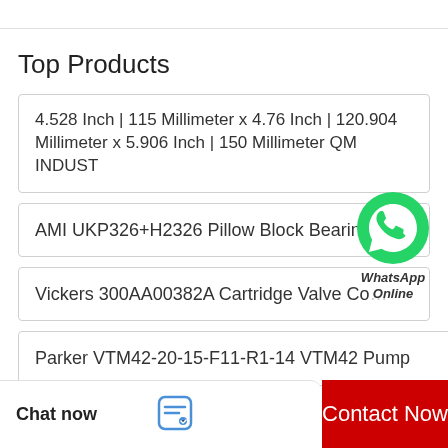Top Products
4.528 Inch | 115 Millimeter x 4.76 Inch | 120.904 Millimeter x 5.906 Inch | 150 Millimeter QM INDUST
AMI UKP326+H2326 Pillow Block Bearings
Vickers 300AA00382A Cartridge Valve Co...
Parker VTM42-20-15-F11-R1-14 VTM42 Pump
Timken 362a Bearing
[Figure (illustration): WhatsApp contact button with green phone icon and 'WhatsApp Online' label]
Chat now | Contact Now